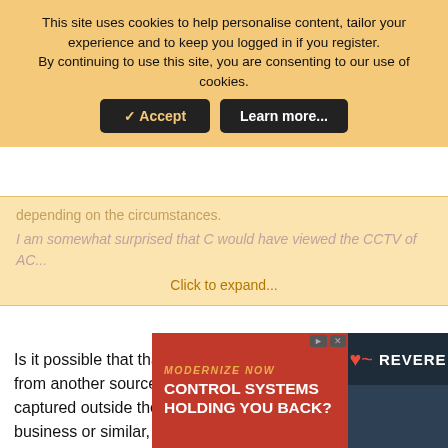This site uses cookies to help personalise content, tailor your experience and to keep you logged in if you register.
By continuing to use this site, you are consenting to our use of cookies.
Accept  Learn more...
depending on the circumstances.
Click to expand...
Is it possible that that early image of AC vomiting came from another source? By definition it will have been captured outside the station, so perhaps it came from a business or similar, perhaps across the way from the station entrance. I'm bearing in mind the fact that the TfL images from inside the station seem to have taken some time to become available, so perhaps it was necessary for the police to approach other owners of CCTV
[Figure (screenshot): Advertisement banner: red background with white bold text 'CONTROL SYSTEMS HOLDING YOU BACK?' with 'MODERNIZE NOW' text and REVERE logo on dark background]